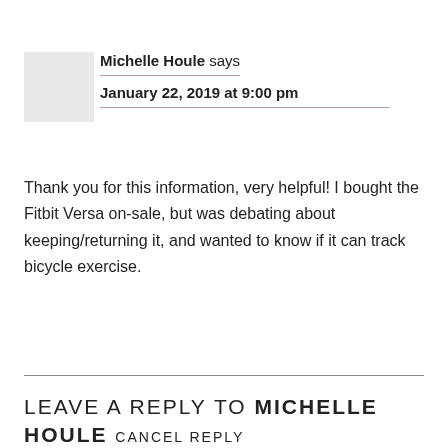[Figure (illustration): Grey square avatar placeholder image]
Michelle Houle says
January 22, 2019 at 9:00 pm
Thank you for this information, very helpful! I bought the Fitbit Versa on-sale, but was debating about keeping/returning it, and wanted to know if it can track bicycle exercise.
Reply
LEAVE A REPLY TO MICHELLE HOULE CANCEL REPLY